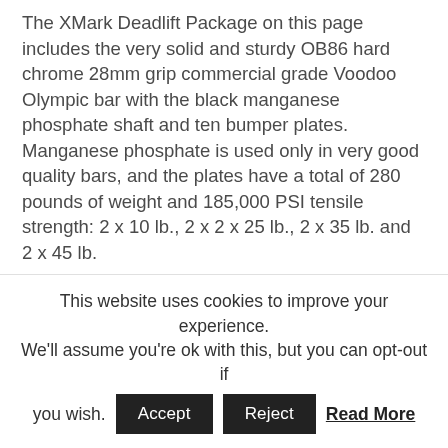The XMark Deadlift Package on this page includes the very solid and sturdy OB86 hard chrome 28mm grip commercial grade Voodoo Olympic bar with the black manganese phosphate shaft and ten bumper plates. Manganese phosphate is used only in very good quality bars, and the plates have a total of 280 pounds of weight and 185,000 PSI tensile strength: 2 x 10 lb., 2 x 2 x 25 lb., 2 x 35 lb. and 2 x 45 lb.
Please note that we reviewed this great 7-inch commercial grade Voodoo bar
This website uses cookies to improve your experience. We'll assume you're ok with this, but you can opt-out if you wish. Accept Reject Read More